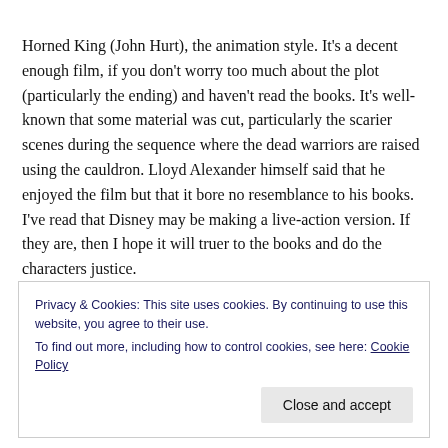Horned King (John Hurt), the animation style. It's a decent enough film, if you don't worry too much about the plot (particularly the ending) and haven't read the books. It's well-known that some material was cut, particularly the scarier scenes during the sequence where the dead warriors are raised using the cauldron. Lloyd Alexander himself said that he enjoyed the film but that it bore no resemblance to his books. I've read that Disney may be making a live-action version. If they are, then I hope it will truer to the books and do the characters justice.
Privacy & Cookies: This site uses cookies. By continuing to use this website, you agree to their use.
To find out more, including how to control cookies, see here: Cookie Policy